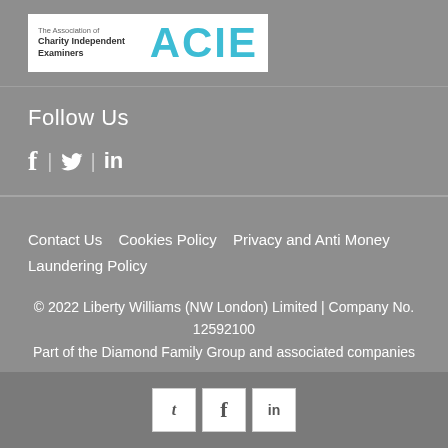[Figure (logo): ACIE - The Association of Charity Independent Examiners logo, white background with teal ACIE text]
Follow Us
[Figure (infographic): Social media icons: Facebook, Twitter, LinkedIn]
Contact Us   Cookies Policy   Privacy and Anti Money Laundering Policy
© 2022 Liberty Williams (NW London) Limited | Company No. 12592100
Part of the Diamond Family Group and associated companies
[Figure (infographic): Bottom bar social media icon buttons: Twitter (t), Facebook (f), LinkedIn (in)]